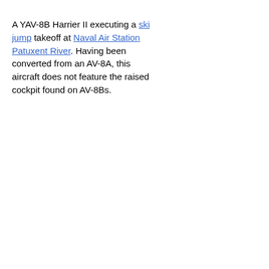A YAV-8B Harrier II executing a ski jump takeoff at Naval Air Station Patuxent River. Having been converted from an AV-8A, this aircraft does not feature the raised cockpit found on AV-8Bs.